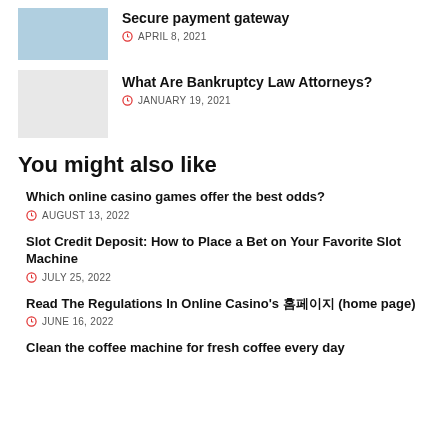[Figure (photo): Partial thumbnail image at top, blue-toned]
Secure payment gateway
APRIL 8, 2021
[Figure (photo): Light gray/white thumbnail image]
What Are Bankruptcy Law Attorneys?
JANUARY 19, 2021
You might also like
Which online casino games offer the best odds?
AUGUST 13, 2022
Slot Credit Deposit: How to Place a Bet on Your Favorite Slot Machine
JULY 25, 2022
Read The Regulations In Online Casino's 홈페이지 (home page)
JUNE 16, 2022
Clean the coffee machine for fresh coffee every day